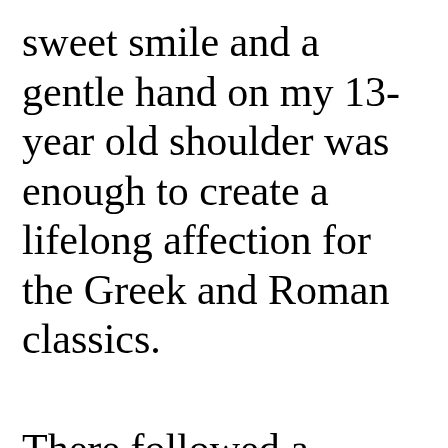sweet smile and a gentle hand on my 13-year old shoulder was enough to create a lifelong affection for the Greek and Roman classics.
There followed a fallow period in the 1950s with no serious crushes on